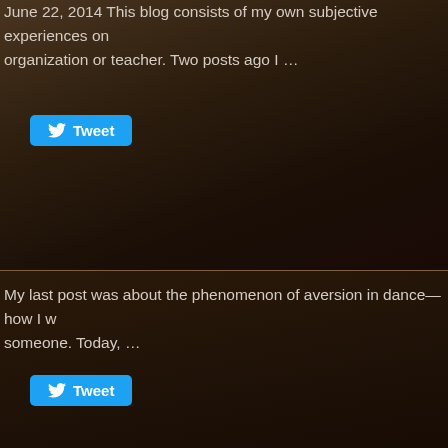June 22, 2014 This blog consists of my own subjective experiences on organization or teacher. Two posts ago I …
[Figure (other): Tweet button with Twitter bird icon]
My last post was about the phenomenon of aversion in dance—how I w someone. Today, …
[Figure (other): Tweet button with Twitter bird icon]
June 2014 5RTA Teacher Spotlight
Belle Dreizler